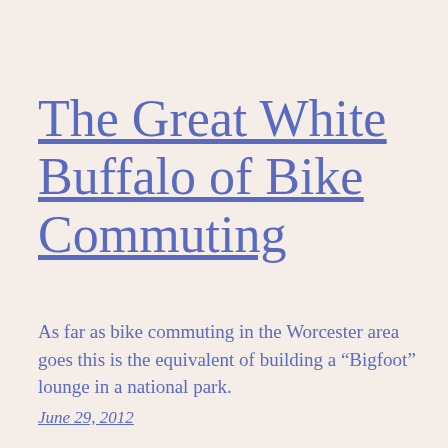The Great White Buffalo of Bike Commuting
As far as bike commuting in the Worcester area goes this is the equivalent of building a “Bigfoot” lounge in a national park.
June 29, 2012